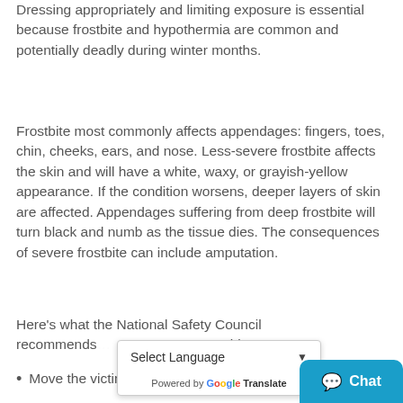Dressing appropriately and limiting exposure is essential because frostbite and hypothermia are common and potentially deadly during winter months.
Frostbite most commonly affects appendages: fingers, toes, chin, cheeks, ears, and nose. Less-severe frostbite affects the skin and will have a white, waxy, or grayish-yellow appearance. If the condition worsens, deeper layers of skin are affected. Appendages suffering from deep frostbite will turn black and numb as the tissue dies. The consequences of severe frostbite can include amputation.
Here's what the National Safety Council recommends: [Select Language dropdown] stbite:
Move the victim out of the cold and h